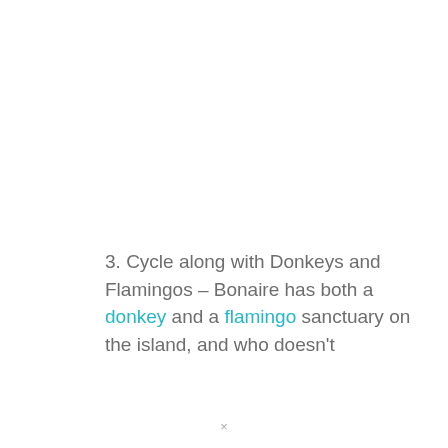3. Cycle along with Donkeys and Flamingos – Bonaire has both a donkey and a flamingo sanctuary on the island, and who doesn't
×